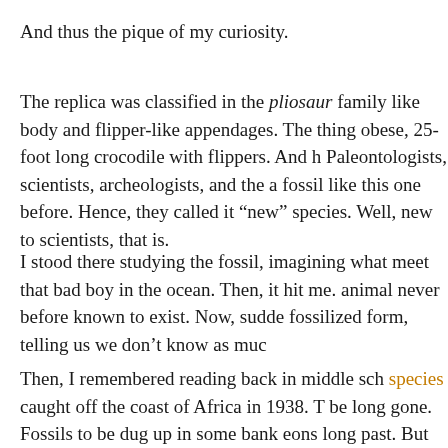And thus the pique of my curiosity.
The replica was classified in the pliosaur family like body and flipper-like appendages. The thing obese, 25-foot long crocodile with flippers. And Paleontologists, scientists, archeologists, and the a fossil like this one before. Hence, they called it "new" species. Well, new to scientists, that is.
I stood there studying the fossil, imagining what meet that bad boy in the ocean. Then, it hit me. animal never before known to exist. Now, sudde fossilized form, telling us we don't know as muc
Then, I remembered reading back in middle sch species caught off the coast of Africa in 1938. T be long gone. Fossils to be dug up in some bank eons long past. But there they were, alive and w